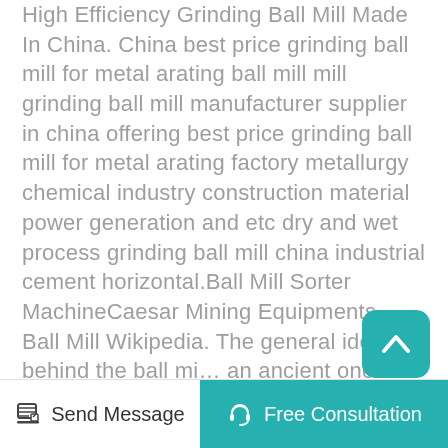High Efficiency Grinding Ball Mill Made In China. China best price grinding ball mill for metal arating ball mill mill grinding ball mill manufacturer supplier in china offering best price grinding ball mill for metal arating factory metallurgy chemical industry construction material power generation and etc dry and wet process grinding ball mill china industrial cement horizontal.Ball Mill Sorter MachineCaesar Mining Equipments. Ball Mill Wikipedia. The general idea behind the ball mill an ancient one but it was not until the industrial revolution and the invention of steam power that an effective ball milling machine could be built It is reported to have been used for grinding flint for pottery in 1870.Online Trading Products. Recommended product from this supplier. Sqm-2L
[Figure (other): Teal rounded square scroll-to-top button with a white upward chevron arrow icon]
[Figure (other): Bottom navigation bar with two buttons: 'Send Message' (white background, pencil/edit icon) on the left and 'Free Consultation' (teal background, headset icon) on the right]